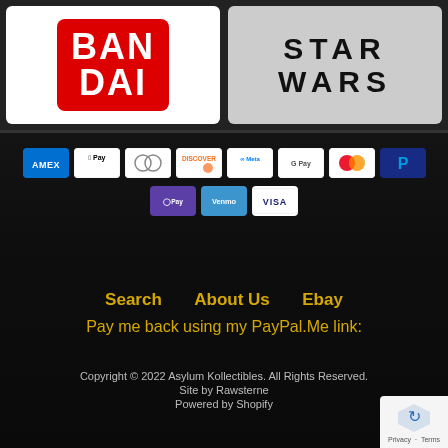[Figure (logo): Bandai logo (white text on red rounded rectangle) on left, Star Wars logo (black text on light gray) on right]
[Figure (infographic): Row of payment method icons: AMEX, Apple Pay, Diners Club, Discover, Meta Pay, Google Pay, Mastercard, PayPal, and second row: O Pay, Venmo, Visa]
Search   About Us   Ebay
Pay me back using my PayPal.Me link:
Copyright © 2022 Asylum Kollectibles. All Rights Reserved.
Site by Rawsterne
Powered by Shopify